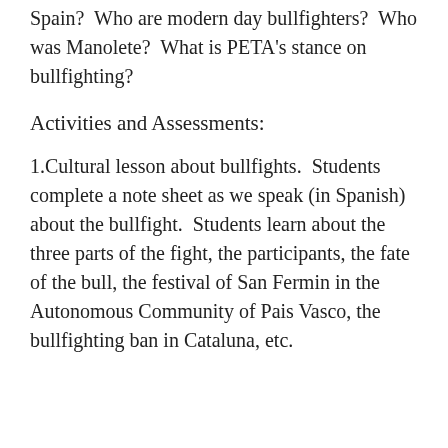Spain?  Who are modern day bullfighters?  Who was Manolete?  What is PETA's stance on bullfighting?
Activities and Assessments:
1.Cultural lesson about bullfights.  Students complete a note sheet as we speak (in Spanish) about the bullfight.  Students learn about the three parts of the fight, the participants, the fate of the bull, the festival of San Fermin in the Autonomous Community of Pais Vasco, the bullfighting ban in Cataluna, etc.